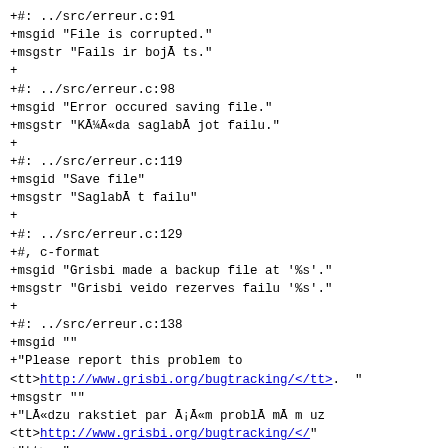+#: ../src/erreur.c:91
+msgid "File is corrupted."
+msgstr "Fails ir bojāts."
+
+#: ../src/erreur.c:98
+msgid "Error occured saving file."
+msgstr "Kļūda saglabājot failu."
+
+#: ../src/erreur.c:119
+msgid "Save file"
+msgstr "Saglabāt failu"
+
+#: ../src/erreur.c:129
+#, c-format
+msgid "Grisbi made a backup file at '%s'."
+msgstr "Grisbi veido rezerves failu '%s'."
+
+#: ../src/erreur.c:138
+msgid ""
+"Please report this problem to <tt>http://www.grisbi.org/bugtracking/</tt>.  "
+msgstr ""
+"Lūdzu rakstiet par šīm problēmām uz <tt>http://www.grisbi.org/bugtracking/</"
+"tt>. "
+
+#: ../src/erreur.c:144
+msgid "Copy and paste the following backtrace with your bug report."
+msgstr "Kopējiet un ielīmējiet šādu atpakaļsaiti